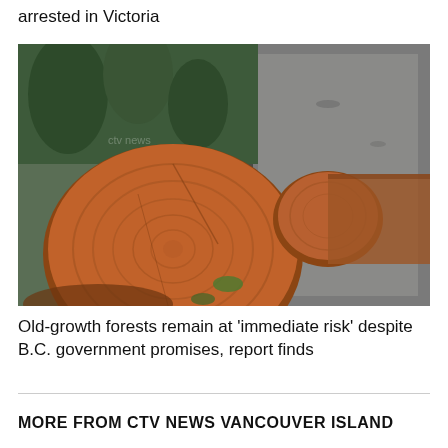arrested in Victoria
[Figure (photo): Large felled old-growth logs with reddish-orange cross-sections lying beside a gravel forest road, surrounded by green trees.]
Old-growth forests remain at 'immediate risk' despite B.C. government promises, report finds
MORE FROM CTV NEWS VANCOUVER ISLAND